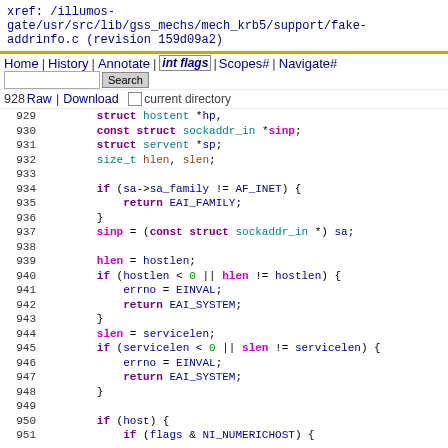xref: /illumos-gate/usr/src/lib/gss_mechs/mech_krb5/support/fake-addrinfo.c (revision 159d09a2)
Home | History | Annotate | int flags | Scopes# | Navigate#
928 Raw | Download [Search box] Search
0 current directory
[Figure (screenshot): Source code viewer showing C code lines 929-951 from fake-addrinfo.c]
929        struct hostent *hp,
930        const struct sockaddr_in *sinp;
931        struct servent *sp;
932        size_t hlen, slen;
933
934        if (sa->sa_family != AF_INET) {
935            return EAI_FAMILY;
936        }
937        sinp = (const struct sockaddr_in *) sa;
938
939        hlen = hostlen;
940        if (hostlen < 0 || hlen != hostlen) {
941            errno = EINVAL;
942            return EAI_SYSTEM;
943        }
944        slen = servicelen;
945        if (servicelen < 0 || slen != servicelen) {
946            errno = EINVAL;
947            return EAI_SYSTEM;
948        }
949
950        if (host) {
951            if (flags & NI_NUMERICHOST) {